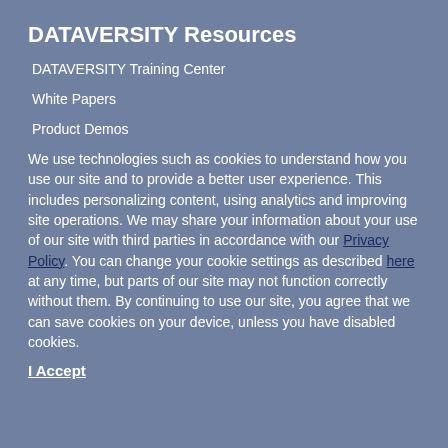DATAVERSITY Resources
DATAVERSITY Training Center
White Papers
Product Demos
We use technologies such as cookies to understand how you use our site and to provide a better user experience. This includes personalizing content, using analytics and improving site operations. We may share your information about your use of our site with third parties in accordance with our Privacy Policy. You can change your cookie settings as described here at any time, but parts of our site may not function correctly without them. By continuing to use our site, you agree that we can save cookies on your device, unless you have disabled cookies.
I Accept